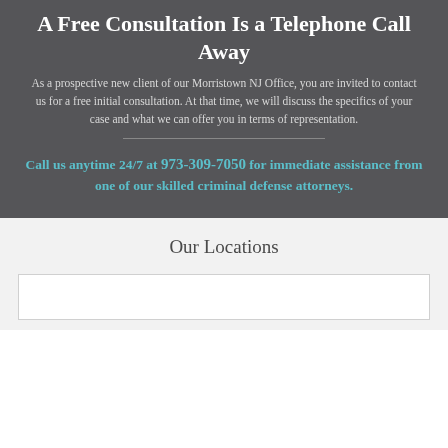A Free Consultation Is a Telephone Call Away
As a prospective new client of our Morristown NJ Office, you are invited to contact us for a free initial consultation. At that time, we will discuss the specifics of your case and what we can offer you in terms of representation.
Call us anytime 24/7 at 973-309-7050 for immediate assistance from one of our skilled criminal defense attorneys.
Our Locations